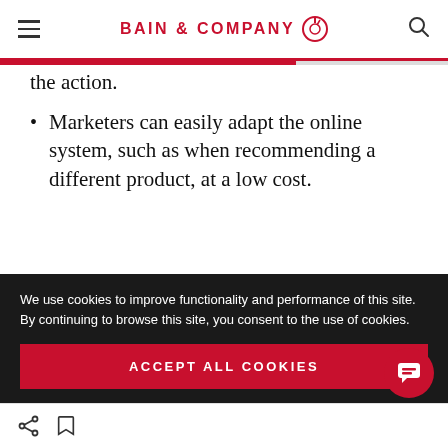BAIN & COMPANY
the action.
Marketers can easily adapt the online system, such as when recommending a different product, at a low cost.
In their most basic form, MABs serve as a more efficient alternative to A/B testing, adaptively
We use cookies to improve functionality and performance of this site. By continuing to browse this site, you consent to the use of cookies.
ACCEPT ALL COOKIES